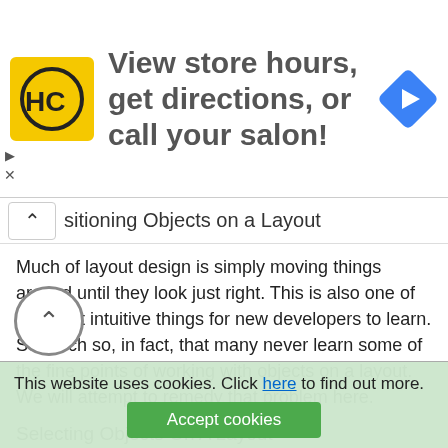[Figure (infographic): Ad banner with HC salon logo (yellow square with HC letters), text 'View store hours, get directions, or call your salon!', and a blue navigation arrow diamond icon on the right. Play and close controls on the left side.]
...sitioning Objects on a Layout
Much of layout design is simply moving things around until they look just right. This is also one of the most intuitive things for new developers to learn. So much so, in fact, that many never learn some of the fine points of working with objects on a layout. We will attempt to remedy that problem here.
Selecting Objects On A Layout
Most all formatting and positioning of objects on a layout begins with the selection of a set of objects to work with.
This website uses cookies. Click here to find out more.